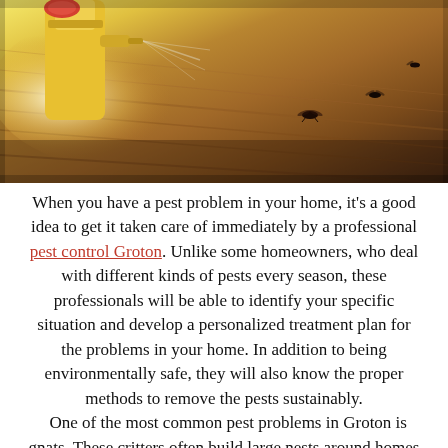[Figure (photo): Close-up photo of a yellow spray bottle/pest control equipment on a wooden floor, with dead insects (flies/gnats) visible on the floor surface]
When you have a pest problem in your home, it's a good idea to get it taken care of immediately by a professional pest control Groton. Unlike some homeowners, who deal with different kinds of pests every season, these professionals will be able to identify your specific situation and develop a personalized treatment plan for the problems in your home. In addition to being environmentally safe, they will also know the proper methods to remove the pests sustainably. One of the most common pest problems in Groton is gnats. These critters often build large nests around homes and other buildings. While gnats can be dangerous to humans, they can